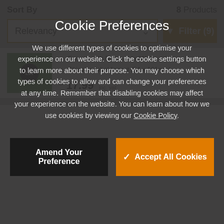Sort By   8 Products
Relevancy
Filter (9)
For use with Dymo LabelWriter printer.
Shipping label format (54 x 101mm)
£ 17.99 inc. vat
Cookie Preferences
We use different types of cookies to optimise your experience on our website. Click the cookie settings button to learn more about their purpose. You may choose which types of cookies to allow and can change your preferences at any time. Remember that disabling cookies may affect your experience on the website. You can learn about how we use cookies by viewing our Cookie Policy.
Amend Your Preference
Accept All Cookies